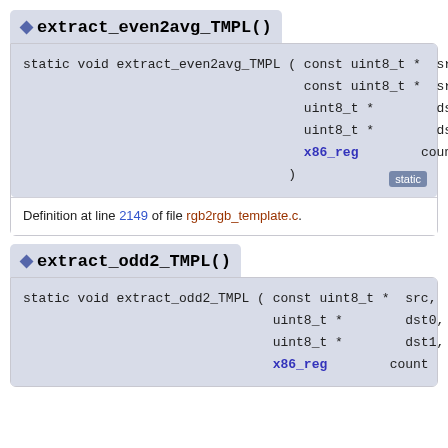extract_even2avg_TMPL()
static void extract_even2avg_TMPL ( const uint8_t *  src0,
                                    const uint8_t *  src1,
                                    uint8_t *        dst0,
                                    uint8_t *        dst1,
                                    x86_reg          count
                                  )
Definition at line 2149 of file rgb2rgb_template.c.
extract_odd2_TMPL()
static void extract_odd2_TMPL ( const uint8_t *  src,
                                uint8_t *        dst0,
                                uint8_t *        dst1,
                                x86_reg          count